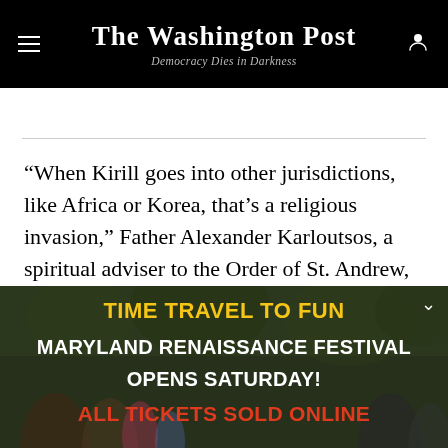The Washington Post — Democracy Dies in Darkness
“When Kirill goes into other jurisdictions, like Africa or Korea, that’s a religious invasion,” Father Alexander Karloutsos, a spiritual adviser to the Order of St. Andrew, told me in an interview. “That’s why there is a schism.”
[Figure (photo): Advertisement banner for Maryland Renaissance Festival with text 'TIME TRAVEL TO FUN', 'MARYLAND RENAISSANCE FESTIVAL OPENS SATURDAY!', 'ALL TICKETS SOLD ONLINE' overlaid on a photo of costumed festival attendees in a wooded setting.]